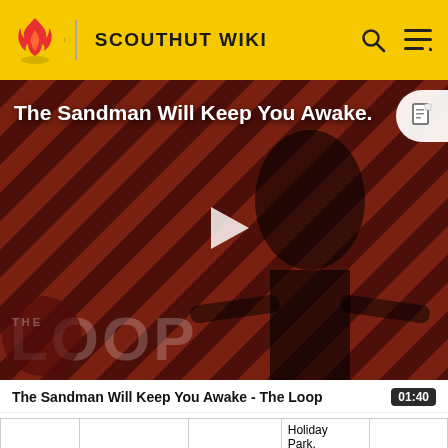SCOUTHUT WIKI
[Figure (screenshot): Video thumbnail for 'The Sandman Will Keep You Awake - The Loop' showing a figure in black costume with a raven on a red and black diagonal striped background with 'THE LOOP' text overlay and a play button in the center.]
The Sandman Will Keep You Awake - The Loop
|  |  |  | Holiday Park. |  |
| Troop 750 | Oceanside Presbytarian | Oceanside CA | Boy Troop | Doing a kind f |